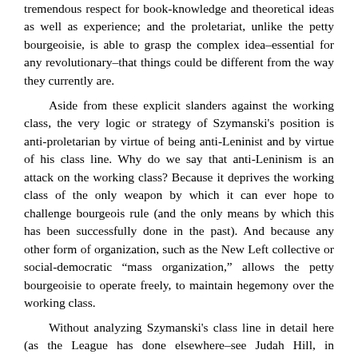tremendous respect for book-knowledge and theoretical ideas as well as experience; and the proletariat, unlike the petty bourgeoisie, is able to grasp the complex idea–essential for any revolutionary–that things could be different from the way they currently are.
Aside from these explicit slanders against the working class, the very logic or strategy of Szymanski's position is anti-proletarian by virtue of being anti-Leninist and by virtue of his class line. Why do we say that anti-Leninism is an attack on the working class? Because it deprives the working class of the only weapon by which it can ever hope to challenge bourgeois rule (and the only means by which this has been successfully done in the past). And because any other form of organization, such as the New Left collective or social-democratic "mass organization," allows the petty bourgeoisie to operate freely, to maintain hegemony over the working class.
Without analyzing Szymanski's class line in detail here (as the League has done elsewhere–see Judah Hill, in Synthesis, Vol. I, No. 3, we will say a few words. Szymanski's strategy for revolution in advanced capitalist countries is a united front alliance between the proletariat and the petty bourgeoisie:
Perhaps the most central fact Marxist-Leninists in